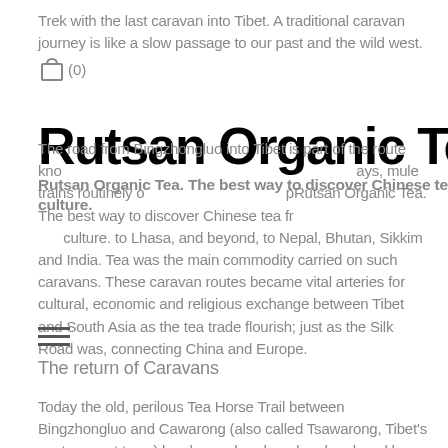Trek with the last caravan into Tibet. A traditional caravan journey is like a slow passage to our past and the wild west.
Rutsan Organic Tea
Rutsan Organic Tea. The best way to discover Chinese tea culture.
The road from Bingzhongluo into Tibet is part of the route known as the Tea Horse Road. For hundreds of years, mule trains routinely operated in the region. The Tea Horse Road took tea from the villages of Yunnan, through Bingzhongluo to Lhasa, and beyond, to Nepal, Bhutan, Sikkim and India. Tea was the main commodity carried on such caravans. These caravan routes became vital arteries for cultural, economic and religious exchange between Tibet and South Asia as the tea trade flourish; just as the Silk Road was, connecting China and Europe.
The return of Caravans
Today the old, perilous Tea Horse Trail between Bingzhongluo and Cawarong (also called Tsawarong, Tibet's easternmost town) has been abandoned and replaced by a dirt road winding through the spectacular Nujiang Gorge. One can even catch a